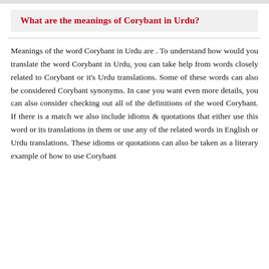What are the meanings of Corybant in Urdu?
Meanings of the word Corybant in Urdu are . To understand how would you translate the word Corybant in Urdu, you can take help from words closely related to Corybant or it’s Urdu translations. Some of these words can also be considered Corybant synonyms. In case you want even more details, you can also consider checking out all of the definitions of the word Corybant. If there is a match we also include idioms & quotations that either use this word or its translations in them or use any of the related words in English or Urdu translations. These idioms or quotations can also be taken as a literary example of how to use Corybant